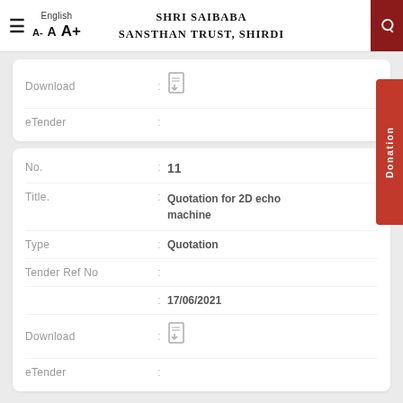English | A- A A+ | SHRI SAIBABA SANSTHAN TRUST, SHIRDI
| Field | Value |
| --- | --- |
| Download |  |
| eTender |  |
| Field | Value |
| --- | --- |
| No. | 11 |
| Title. | Quotation for 2D echo machine |
| Type | Quotation |
| Tender Ref No |  |
|  | 17/06/2021 |
| Download |  |
| eTender |  |